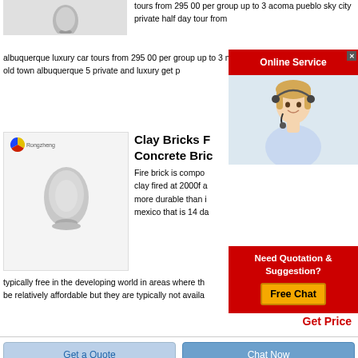[Figure (photo): Gray powder/egg-shaped object on a stand, product image]
tours from 295 00 per group up to 3 acoma pueblo sky city private half day tour from albuquerque luxury car tours from 295 00 per group up to 3 new mexico flavors tour of old town albuquerque 5 private and luxury get p
[Figure (screenshot): Online Service popup with red header and photo of woman with headset]
[Figure (photo): Gray egg-shaped powder object on a stand, Rongzheng branded product image]
Clay Bricks F... Concrete Bric...
Fire brick is compo... clay fired at 2000f a... more durable than i... mexico that is 14 da... typically free in the developing world in areas where th... be relatively affordable but they are typically not availa...
[Figure (screenshot): Need Quotation & Suggestion? Free Chat popup with red background and orange button]
Get Price
Get a Quote
Chat Now